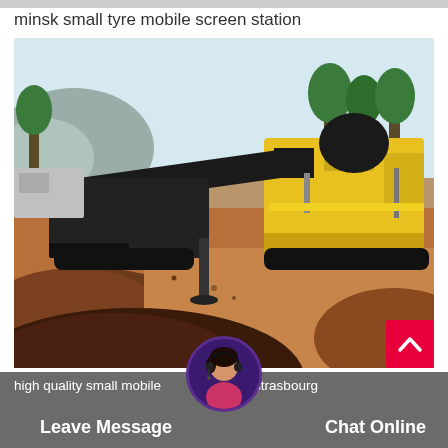minsk small tyre mobile screen station
[Figure (photo): A large yellow mobile screening/crushing station machine on a construction/mining site with red-brown soil/gravel piles, trees and mountains in background.]
high quality small mobile screening plant strasbourg
Leave Message   Chat Online